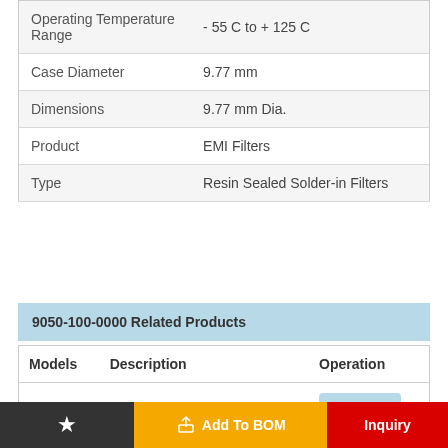|  |  |
| --- | --- |
| Operating Temperature Range | - 55 C to + 125 C |
| Case Diameter | 9.77 mm |
| Dimensions | 9.77 mm Dia. |
| Product | EMI Filters |
| Type | Resin Sealed Solder-in Filters |
9050-100-0000 Related Products
| Models | Description | Operation |
| --- | --- | --- |
| 8MHZ | Resonators, JIEXIM, 49S | Compare |
★   Add To BOM   Inquiry